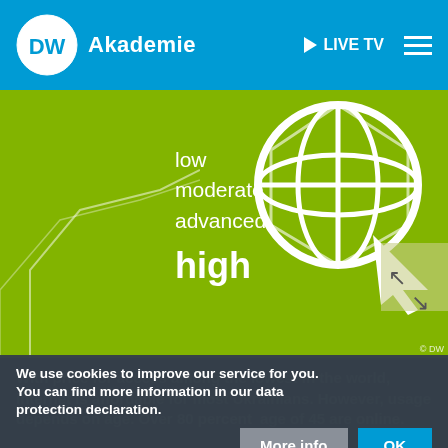DW Akademie | LIVE TV
[Figure (screenshot): DW Akademie website screenshot showing navigation bar with DW logo, Akademie text, LIVE TV link, and hamburger menu on blue background, followed by a green banner with internet access level indicators (low, moderate, advanced, high) and a globe with cursor icon, and a cookie consent overlay at the bottom]
We use cookies to improve our service for you. You can find more information in our data protection declaration.
With price for access among the lowest in the world, internet is affordable for most Ukrainians. However, usage depends on age. Over 80 percent ... age of 45 are online.